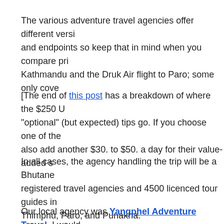The various adventure travel agencies offer different versions and endpoints so keep that in mind when you compare prices. Kathmandu and the Druk Air flight to Paro; some only cove
[The end of this post has a breakdown of where the $250 USD "optional" (but expected) tips go. If you choose one of the also add another $30. to $50. a day for their value-added s
In all cases, the agency handling the trip will be a Bhutanese registered travel agencies and 4500 licenced tour guides in Thimphu, Paro, and Punakha.
[Figure (screenshot): Screenshot of Yangphel Adventure Travel website showing logo with winged figure, brand name in dark red, navigation bar with Trips link, and a green forested landscape banner image.]
Our local agency was Yangphel Adventure Travel. I would